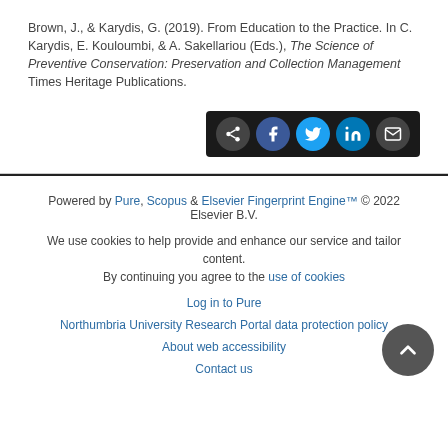Brown, J., & Karydis, G. (2019). From Education to the Practice. In C. Karydis, E. Kouloumbi, & A. Sakellariou (Eds.), The Science of Preventive Conservation: Preservation and Collection Management Times Heritage Publications.
[Figure (other): Social share bar with icons for share, Facebook, Twitter, LinkedIn, and email on a dark background]
Powered by Pure, Scopus & Elsevier Fingerprint Engine™ © 2022 Elsevier B.V.
We use cookies to help provide and enhance our service and tailor content. By continuing you agree to the use of cookies
Log in to Pure
Northumbria University Research Portal data protection policy
About web accessibility
Contact us